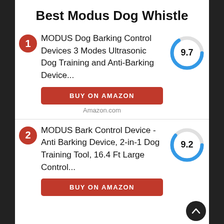Best Modus Dog Whistle
MODUS Dog Barking Control Devices 3 Modes Ultrasonic Dog Training and Anti-Barking Device...
[Figure (donut-chart): Score 9.7]
BUY ON AMAZON
Amazon.com
MODUS Bark Control Device - Anti Barking Device, 2-in-1 Dog Training Tool, 16.4 Ft Large Control...
[Figure (donut-chart): Score 9.2]
BUY ON AMAZON